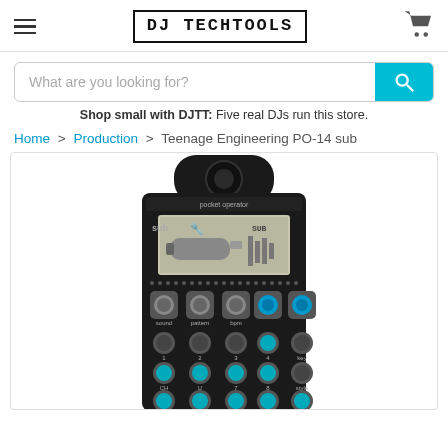DJ TechTools
What are you looking for?
Shop small with DJTT: Five real DJs run this store.
Home > Production > Teenage Engineering PO-14 sub
[Figure (photo): Teenage Engineering PO-14 sub pocket operator synthesizer device, black with teal buttons and LCD display, shown from front]